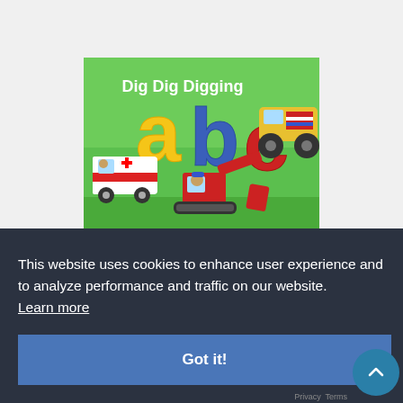[Figure (illustration): Book cover for 'Dig Dig Digging abc' showing colorful cartoon vehicles including an ambulance, monster truck, and excavator with a bear driver on a green background, large colorful letters a, b, c]
This website uses cookies to enhance user experience and to analyze performance and traffic on our website.  Learn more
Got it!